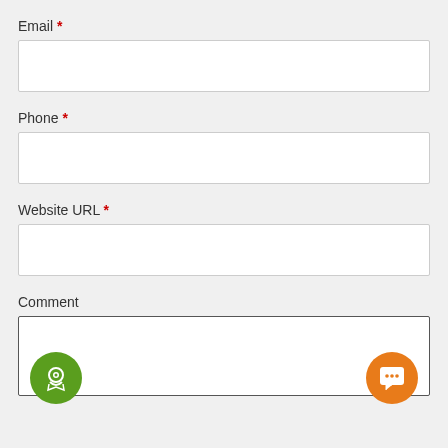Email *
[Figure (other): Empty text input field for Email]
Phone *
[Figure (other): Empty text input field for Phone]
Website URL *
[Figure (other): Empty text input field for Website URL]
Comment
[Figure (other): Comment text area with green badge icon on bottom-left and orange chat icon on bottom-right]